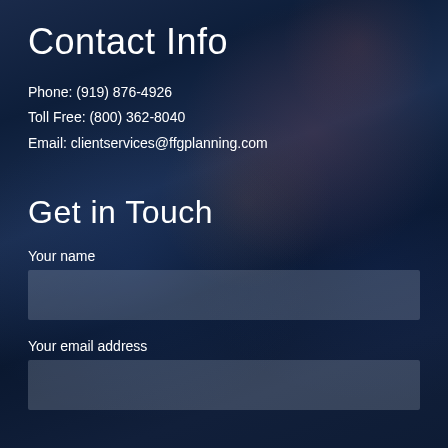Contact Info
Phone: (919) 876-4926
Toll Free: (800) 362-8040
Email: clientservices@ffgplanning.com
Get in Touch
Your name
Your email address